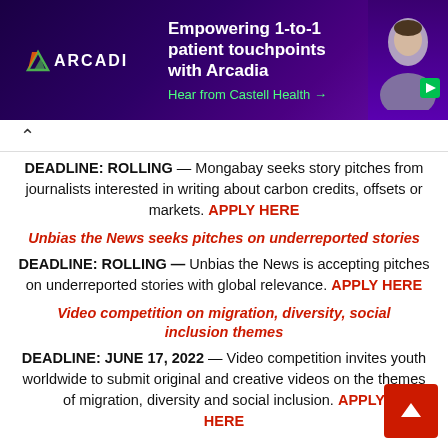[Figure (screenshot): Arcadia advertisement banner with dark purple background showing logo, text 'Empowering 1-to-1 patient touchpoints with Arcadia', 'Hear from Castell Health →', and a person photo with play button]
DEADLINE: ROLLING — Mongabay seeks story pitches from journalists interested in writing about carbon credits, offsets or markets. APPLY HERE
Unbias the News seeks pitches on underreported stories
DEADLINE: ROLLING — Unbias the News is accepting pitches on underreported stories with global relevance. APPLY HERE
Video competition on migration, diversity, social inclusion themes
DEADLINE: JUNE 17, 2022 — Video competition invites youth worldwide to submit original and creative videos on the themes of migration, diversity and social inclusion. APPLY HERE